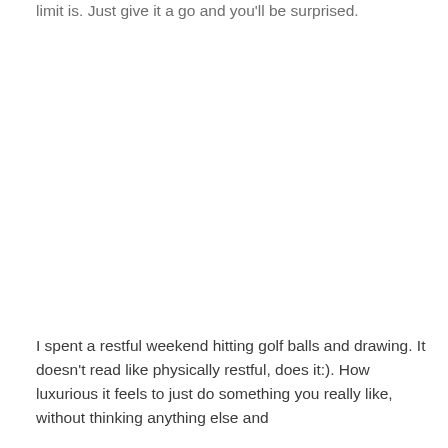limit is. Just give it a go and you'll be surprised.
I spent a restful weekend hitting golf balls and drawing. It doesn't read like physically restful, does it:). How luxurious it feels to just do something you really like, without thinking anything else and